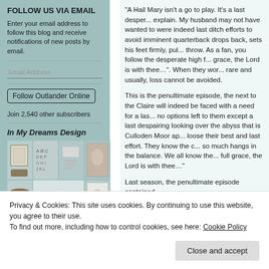FOLLOW US VIA EMAIL
Enter your email address to follow this blog and receive notifications of new posts by email.
Email Address
Follow Outlander Online
Join 2,540 other subscribers
In My Dreams Design
[Figure (photo): Collage of interior design / craft photos arranged in a grid]
“A Hail Mary isn’t a go to play. It’s a last desper... explain. My husband may not have wanted to were indeed last ditch efforts to avoid imminent quarterback drops back, sets his feet firmly, pul... throw. As a fan, you follow the desperate high f... grace, the Lord is with thee…”. When they wor... rare and usually, loss cannot be avoided.
This is the penultimate episode, the next to the Claire will indeed be faced with a need for a las... no options left to them except a last despairing looking over the abyss that is Culloden Moor ap... loose their best and last effort. They know the c... so much hangs in the balance. We all know the... full grace, the Lord is with thee…”
Last season, the penultimate episode contained...
Privacy & Cookies: This site uses cookies. By continuing to use this website, you agree to their use.
To find out more, including how to control cookies, see here: Cookie Policy
Close and accept